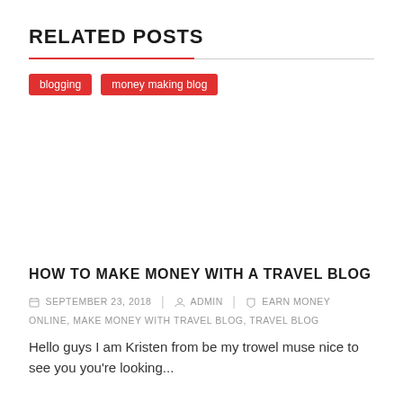RELATED POSTS
blogging
money making blog
HOW TO MAKE MONEY WITH A TRAVEL BLOG
SEPTEMBER 23, 2018   ADMIN   EARN MONEY ONLINE, MAKE MONEY WITH TRAVEL BLOG, TRAVEL BLOG
Hello guys I am Kristen from be my trowel muse nice to see you you're looking...